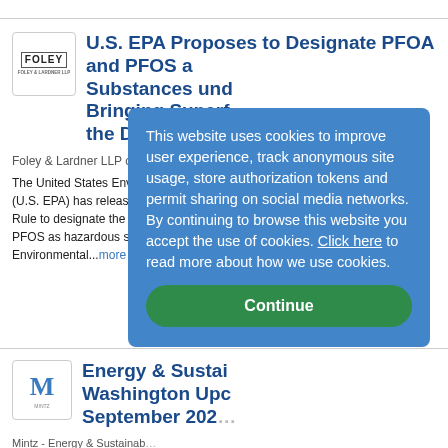[Figure (logo): Foley & Lardner LLP logo — small bordered box with FOLEY text]
U.S. EPA Proposes to Designate PFOA and PFOS as Hazardous Substances under CERCLA, Bringing Superfund Liability Back into the Discussion
Foley & Lardner LLP on 8/3...
The United States Environmental Protection Agency (U.S. EPA) has released its Proposed Rule to designate the "forever chemicals" PFOA and PFOS as hazardous substances under the Comprehensive Environmental...more
[Figure (logo): Mintz law firm logo — blue letter M with Mintz text below]
Energy & Sustainability Washington Update — September 2022
Mintz - Energy & Sustainability...
8/30/2022
This website uses cookies to improve user experience, track anonymous site usage, store authorization tokens and permit sharing on social media networks. By continuing to browse this website you accept the use of cookies. Click here to read more about how we use cookies.